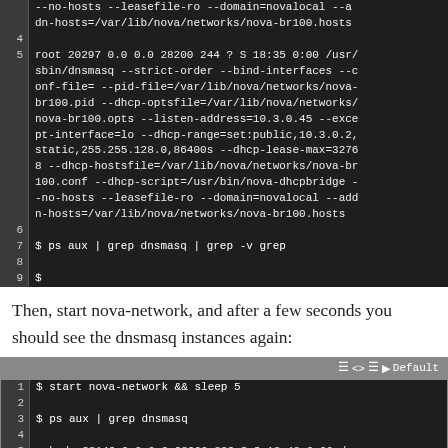[Figure (screenshot): Terminal/code block showing dnsmasq process output and shell prompt, lines 4-9, dark background with line numbers]
Then, start nova-network, and after a few seconds you should see the dnsmasq instances again:
[Figure (screenshot): Terminal/code block showing commands: $ start nova-network && sleep 5, $ ps aux | grep dnsmasq, and process output line, lines 1-5, with toolbar showing Default]